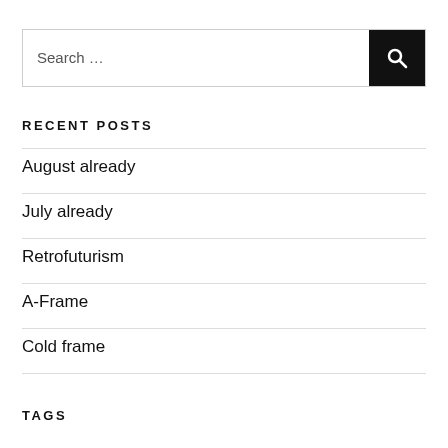[Figure (other): Search bar with text 'Search …' and a black search button with magnifier icon]
RECENT POSTS
August already
July already
Retrofuturism
A-Frame
Cold frame
TAGS